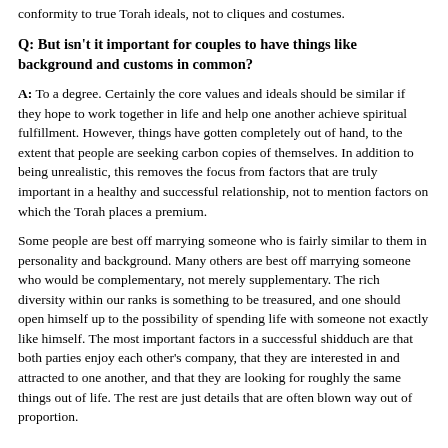conformity to true Torah ideals, not to cliques and costumes.
Q: But isn't it important for couples to have things like background and customs in common?
A: To a degree. Certainly the core values and ideals should be similar if they hope to work together in life and help one another achieve spiritual fulfillment. However, things have gotten completely out of hand, to the extent that people are seeking carbon copies of themselves. In addition to being unrealistic, this removes the focus from factors that are truly important in a healthy and successful relationship, not to mention factors on which the Torah places a premium.
Some people are best off marrying someone who is fairly similar to them in personality and background. Many others are best off marrying someone who would be complementary, not merely supplementary. The rich diversity within our ranks is something to be treasured, and one should open himself up to the possibility of spending life with someone not exactly like himself. The most important factors in a successful shidduch are that both parties enjoy each other's company, that they are interested in and attracted to one another, and that they are looking for roughly the same things out of life. The rest are just details that are often blown way out of proportion.